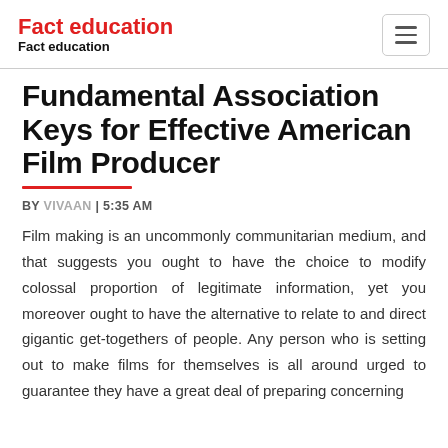Fact education
Fact education
Fundamental Association Keys for Effective American Film Producer
BY VIVAAN | 5:35 AM
Film making is an uncommonly communitarian medium, and that suggests you ought to have the choice to modify colossal proportion of legitimate information, yet you moreover ought to have the alternative to relate to and direct gigantic get-togethers of people. Any person who is setting out to make films for themselves is all around urged to guarantee they have a great deal of preparing concerning